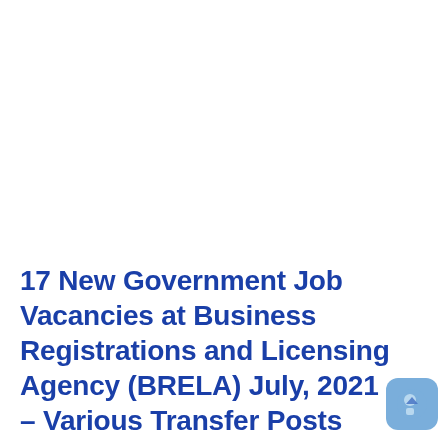17 New Government Job Vacancies at Business Registrations and Licensing Agency (BRELA) July, 2021 – Various Transfer Posts